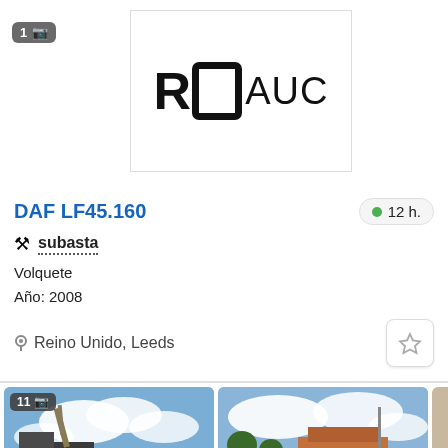[Figure (logo): RO AUC logo in bold black lettering with stylized O character, inside a white box with light border]
DAF LF45.160
12 h.
subasta
Volquete
Año: 2008
Reino Unido, Leeds
[Figure (photo): Thumbnail photo of a truck/vehicle with industrial machinery against a cloudy sky, with badge showing 11 photos]
[Figure (photo): Thumbnail photo of a building/structure against a cloudy sky, partially cropped]